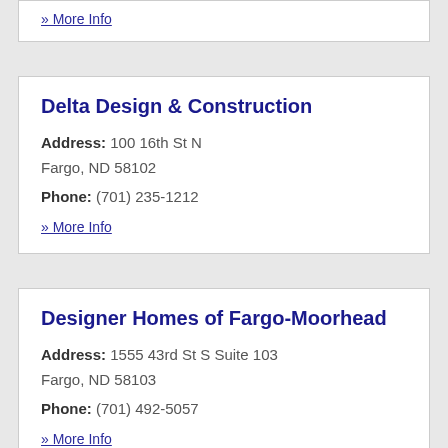» More Info
Delta Design & Construction
Address: 100 16th St N
Fargo, ND 58102
Phone: (701) 235-1212
» More Info
Designer Homes of Fargo-Moorhead
Address: 1555 43rd St S Suite 103
Fargo, ND 58103
Phone: (701) 492-5057
» More Info